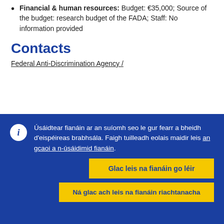Financial & human resources: Budget: €35,000; Source of the budget: research budget of the FADA; Staff: No information provided
Contacts
Federal Anti-Discrimination Agency /
Úsáidtear fianáin ar an suíomh seo le gur fearr a bheidh d'eispéireas brabhsála. Faigh tuilleadh eolais maidir leis an gcaoi a n-úsáidimid fianáin.
Glac leis na fianáin go léir
Ná glac ach leis na fianáin riachtanacha